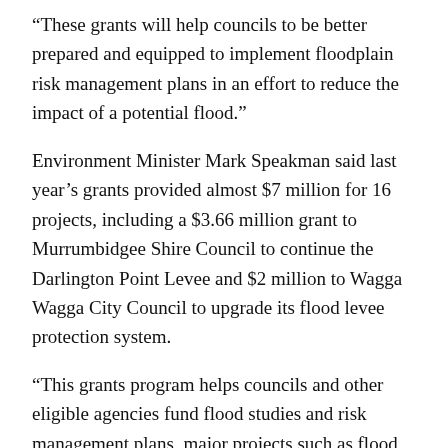“These grants will help councils to be better prepared and equipped to implement floodplain risk management plans in an effort to reduce the impact of a potential flood.”
Environment Minister Mark Speakman said last year’s grants provided almost $7 million for 16 projects, including a $3.66 million grant to Murrumbidgee Shire Council to continue the Darlington Point Levee and $2 million to Wagga Wagga City Council to upgrade its flood levee protection system.
“This grants program helps councils and other eligible agencies fund flood studies and risk management plans, major projects such as flood levees, flood gates and flood warning systems, and purchasing and raising homes in high risk flooding areas,” Mr Speakman said.